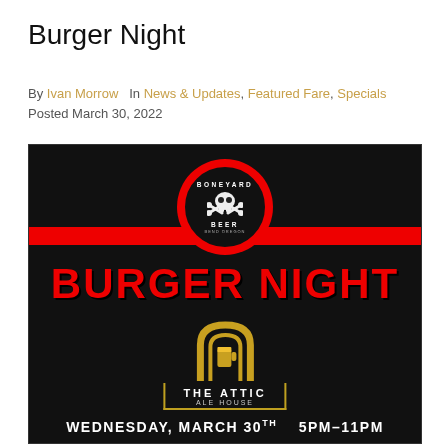Burger Night
By Ivan Morrow   In News & Updates, Featured Fare, Specials
Posted March 30, 2022
[Figure (photo): A promotional poster on a black background for 'Burger Night' at The Attic Ale House, featuring the Boneyard Beer logo with skull and crossbones, large red text reading BURGER NIGHT, The Attic Ale House logo with yellow icon, and event details: Wednesday, March 30th 5PM-11PM]